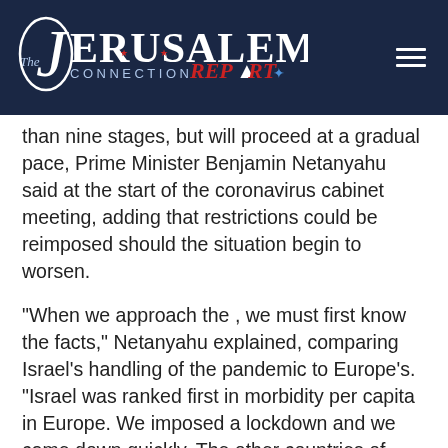[Figure (logo): The Jerusalem Connection Report logo on dark navy background with hamburger menu icon]
than nine stages, but will proceed at a gradual pace, Prime Minister Benjamin Netanyahu said at the start of the coronavirus cabinet meeting, adding that restrictions could be reimposed should the situation begin to worsen.
“When we approach the , we must first know the facts,” Netanyahu explained, comparing Israel’s handling of the pandemic to Europe’s. “Israel was ranked first in morbidity per capita in Europe. We imposed a lockdown and we came down quickly. The other countries of Europe that did not impose lockdowns and did not impose tough restrictions went